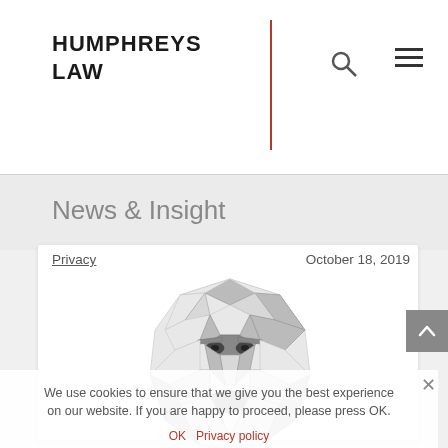HUMPHREYS LAW
News & Insight
Privacy    October 18, 2019
[Figure (illustration): Low-poly 3D wireframe illustration of a human face/head, triangulated mesh in grayscale]
We use cookies to ensure that we give you the best experience on our website. If you are happy to proceed, please press OK.
OK   Privacy policy